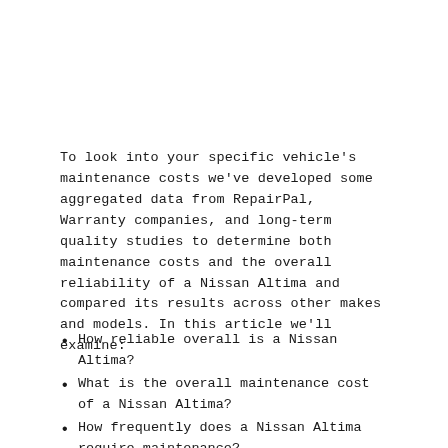To look into your specific vehicle's maintenance costs we've developed some aggregated data from RepairPal, Warranty companies, and long-term quality studies to determine both maintenance costs and the overall reliability of a Nissan Altima and compared its results across other makes and models. In this article we'll examine:
How reliable overall is a Nissan Altima?
What is the overall maintenance cost of a Nissan Altima?
How frequently does a Nissan Altima require maintenance?
How likely is the Nissan Altima to have a severe repair issue?
What are different factors that impact